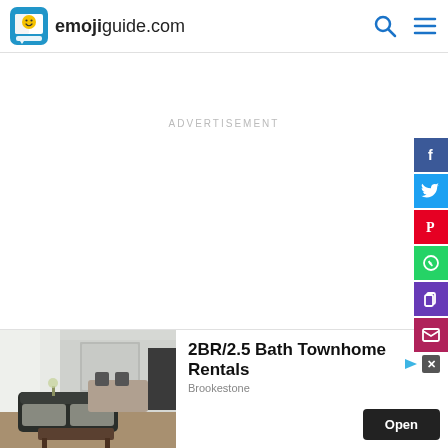emojiguide.com
ADVERTISEMENT
[Figure (screenshot): Social sharing sidebar with Facebook (blue), Twitter (blue), Pinterest (red), WhatsApp (green), Copy (purple), Email (dark red/pink) buttons on the right edge]
[Figure (photo): Interior photo of a modern living room with dark sofa and dining area in background]
2BR/2.5 Bath Townhome Rentals
Brookestone